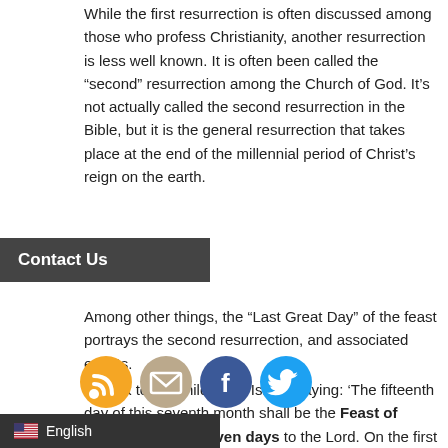While the first resurrection is often discussed among those who profess Christianity, another resurrection is less well known. It is often been called the “second” resurrection among the Church of God. It’s not actually called the second resurrection in the Bible, but it is the general resurrection that takes place at the end of the millennial period of Christ’s reign on the earth.
[Figure (other): Contact Us button overlay and social media icons: RSS (orange), Email (tan), Facebook (blue), Twitter (light blue)]
Among other things, the “Last Great Day” of the feast portrays the second resurrection, and associated events.
“Speak to the children of Israel, saying: ‘The fifteenth day of this seventh month shall be the Feast of Tabernacles for seven days to the Lord. On the first day there shall be a holy convocation. You shall do no customary work on it. For seven days you shall offer an offering made by fire to the Lord. On the eighth day you shall have a holy convocation, and you shall offer an offering made by fire to the Lord. It is a sacred assembly, and you shall do no customary work on it” (Leviticus 23:34-36).
Now the Feast of Tabernacles proper lasts seven days, and the eighth day, immediately following, is a holy day, or annual
[Figure (other): English language selector bar with US flag icon at bottom left]